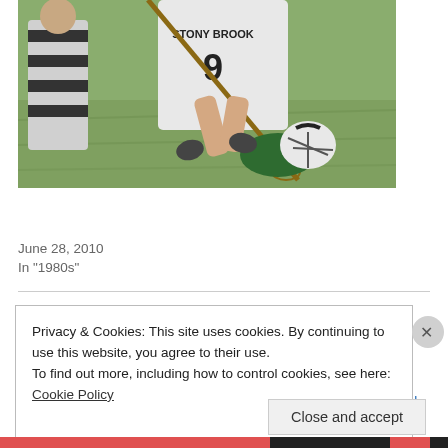[Figure (photo): Lacrosse players in action — a player wearing a Stony Brook #9 jersey pressing down on an opponent on the ground, with a referee in striped uniform visible on the left. Outdoor grass field setting.]
Bears With Sticks: The Remarkable Rise of Stony Brook Lacrosse
June 28, 2010
In "1980s"
Privacy & Cookies: This site uses cookies. By continuing to use this website, you agree to their use.
To find out more, including how to control cookies, see here: Cookie Policy